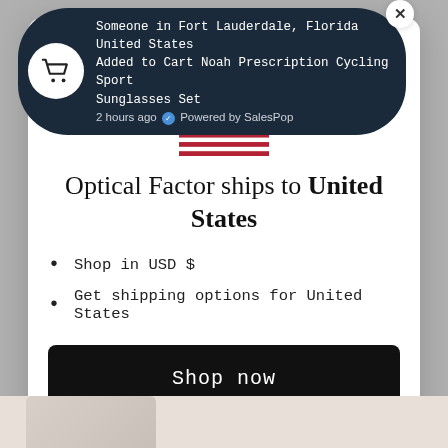[Figure (screenshot): SalesPop notification banner with cart icon showing: Someone in Fort Lauderdale, Florida United States Added to Cart Noah Prescription Cycling Sport Sunglasses Set 2 hours ago. Powered by SalesPop.]
[Figure (illustration): US flag illustration centered above modal heading]
Optical Factor ships to United States
Shop in USD $
Get shipping options for United States
Shop now
Change shipping country